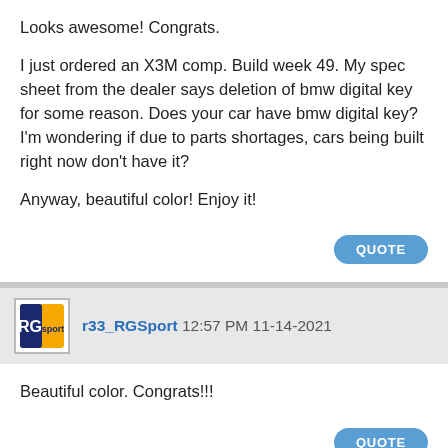Looks awesome! Congrats.

I just ordered an X3M comp. Build week 49. My spec sheet from the dealer says deletion of bmw digital key for some reason. Does your car have bmw digital key? I'm wondering if due to parts shortages, cars being built right now don't have it?

Anyway, beautiful color! Enjoy it!
r33_RGSport 12:57 PM 11-14-2021
Beautiful color. Congrats!!!